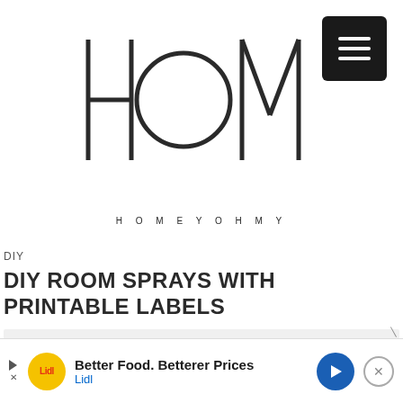[Figure (logo): HOMEYOHMY logo — stylized geometric letters H, O, M, Y, O, H, M, Y with text below reading H O M E Y O H M Y]
DIY
DIY ROOM SPRAYS WITH PRINTABLE LABELS
[Figure (other): Grey placeholder content area for article image]
[Figure (other): Lidl advertisement banner: Better Food. Betterer Prices — Lidl]